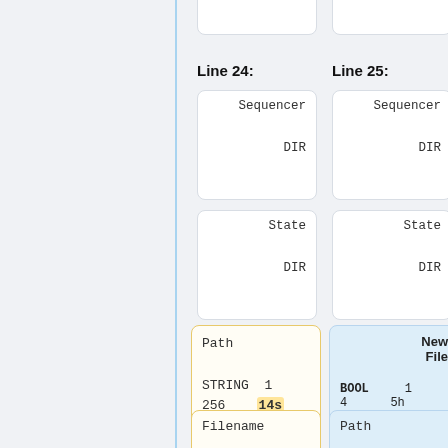tree ==
tree ==
Line 24:
Line 25:
Sequencer

DIR
Sequencer

DIR
State

DIR
State

DIR
Path

STRING 1
256   14s
0   RWD
/home/midas/
online/
New
File

BOOL   1
4     5h
0   RWD   n
Filename
Path